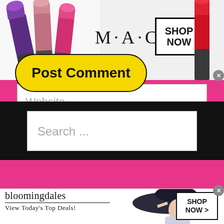[Figure (screenshot): MAC Cosmetics advertisement banner with lipsticks on left, MAC logo in center, and SHOP NOW button in a box on right with a red lipstick on far right]
Website
Post Comment
[Figure (screenshot): Search input field with placeholder text 'Search ...' on black background]
[Figure (screenshot): Bloomingdales advertisement banner with logo, 'View Today's Top Deals!' tagline, woman in hat, and SHOP NOW > button]